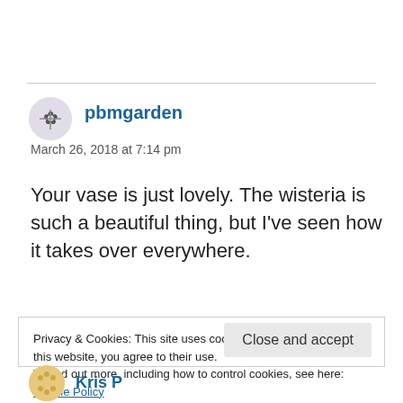[Figure (illustration): Circular avatar icon with plant/flower graphic for user pbmgarden]
pbmgarden
March 26, 2018 at 7:14 pm
Your vase is just lovely. The wisteria is such a beautiful thing, but I’ve seen how it takes over everywhere.
Privacy & Cookies: This site uses cookies. By continuing to use this website, you agree to their use.
To find out more, including how to control cookies, see here:
Cookie Policy
Close and accept
[Figure (illustration): Circular avatar icon with dots/flowers pattern for another user]
Kris P